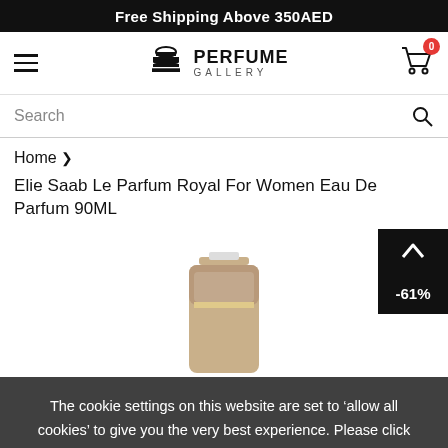Free Shipping Above 350AED
[Figure (screenshot): Perfume Gallery website navigation bar with hamburger menu on left, Perfume Gallery logo in center, and cart icon with badge showing 0 on right]
Search
Home >
Elie Saab Le Parfum Royal For Women Eau De Parfum 90ML
[Figure (photo): Perfume bottle product image partially visible with -61% discount badge in bottom right corner]
The cookie settings on this website are set to ‘allow all cookies’ to give you the very best experience. Please click Accept Cookies to continue to use the site.
PRIVACY POLICY    I AGREE ✓